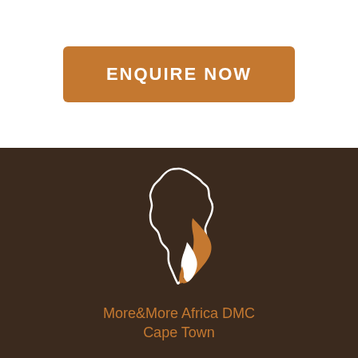[Figure (other): Orange rounded rectangle button with text ENQUIRE NOW in white uppercase letters]
[Figure (logo): More&More Africa DMC logo: outline of Africa continent with orange and white swoosh design inside, on dark brown background]
More&More Africa DMC
Cape Town
info@moreandmoreafrica.com
booking@moreandmoreafrica.com